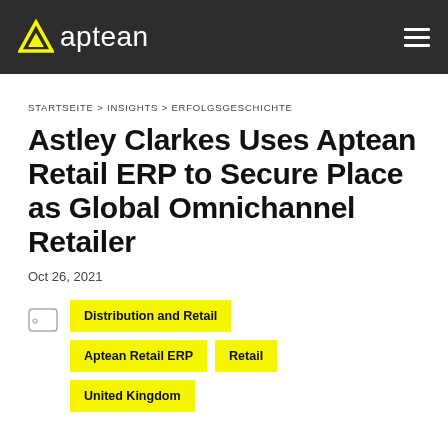aptean
STARTSEITE > INSIGHTS > ERFOLGSGESCHICHTE
Astley Clarkes Uses Aptean Retail ERP to Secure Place as Global Omnichannel Retailer
Oct 26, 2021
Distribution and Retail
Aptean Retail ERP
Retail
United Kingdom